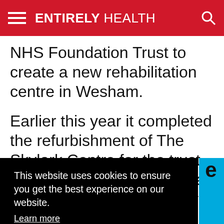ENTIRELY HEALTH
NHS Foundation Trust to create a new rehabilitation centre in Wesham.
Earlier this year it completed the refurbishment of The Skylark Centre for the trust. A rehabilitation unit at Royal Preston Hospital, the centre helps
This website uses cookies to ensure you get the best experience on our website. Learn more
I agree
Specialists